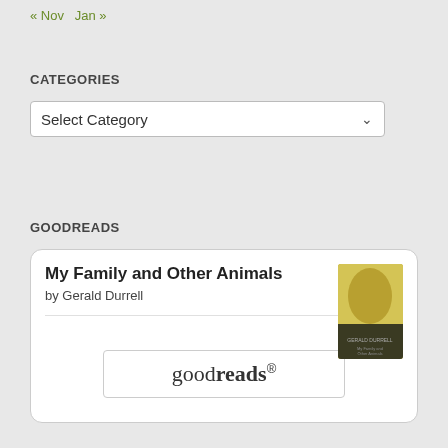« Nov   Jan »
CATEGORIES
Select Category
GOODREADS
[Figure (other): Goodreads widget card showing book 'My Family and Other Animals' by Gerald Durrell with book cover thumbnail and goodreads logo button]